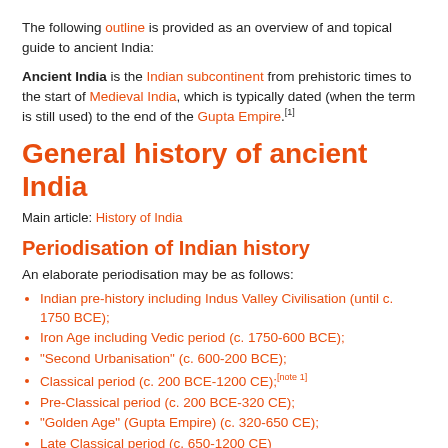The following outline is provided as an overview of and topical guide to ancient India:
Ancient India is the Indian subcontinent from prehistoric times to the start of Medieval India, which is typically dated (when the term is still used) to the end of the Gupta Empire.[1]
General history of ancient India
Main article: History of India
Periodisation of Indian history
An elaborate periodisation may be as follows:
Indian pre-history including Indus Valley Civilisation (until c. 1750 BCE);
Iron Age including Vedic period (c. 1750-600 BCE);
"Second Urbanisation" (c. 600-200 BCE);
Classical period (c. 200 BCE-1200 CE);[note 1]
Pre-Classical period (c. 200 BCE-320 CE);
"Golden Age" (Gupta Empire) (c. 320-650 CE);
Late Classical period (c. 650-1200 CE)